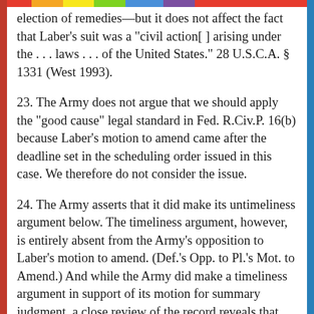election of remedies—but it does not affect the fact that Laber's suit was a "civil action[ ] arising under the . . . laws . . . of the United States." 28 U.S.C.A. § 1331 (West 1993).
23. The Army does not argue that we should apply the "good cause" legal standard in Fed. R.Civ.P. 16(b) because Laber's motion to amend came after the deadline set in the scheduling order issued in this case. We therefore do not consider the issue.
24. The Army asserts that it did make its untimeliness argument below. The timeliness argument, however, is entirely absent from the Army's opposition to Laber's motion to amend. (Def.'s Opp. to Pl.'s Mot. to Amend.) And while the Army did make a timeliness argument in support of its motion for summary judgment, a close review of the record reveals that the Army argued only that Laber's request for attorney's fees and costs was untimely because it came more than 90